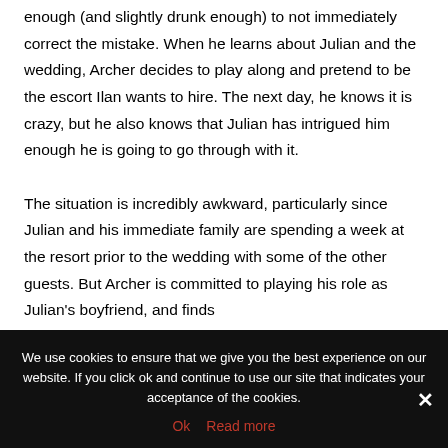enough (and slightly drunk enough) to not immediately correct the mistake. When he learns about Julian and the wedding, Archer decides to play along and pretend to be the escort Ilan wants to hire. The next day, he knows it is crazy, but he also knows that Julian has intrigued him enough he is going to go through with it.

The situation is incredibly awkward, particularly since Julian and his immediate family are spending a week at the resort prior to the wedding with some of the other guests. But Archer is committed to playing his role as Julian's boyfriend, and finds himself actually enjoying his time with...
We use cookies to ensure that we give you the best experience on our website. If you click ok and continue to use our site that indicates your acceptance of the cookies.
Ok   Read more